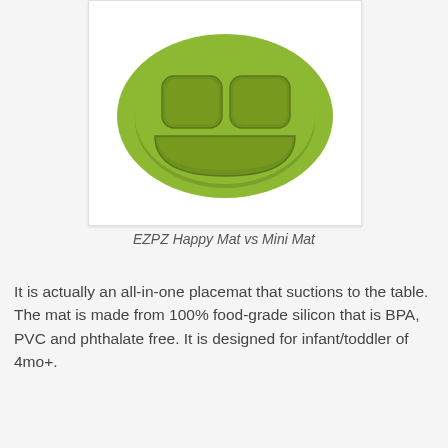[Figure (photo): Green EZPZ Happy Mat, a smiley-face shaped silicone placemat with divided sections, on a white background]
EZPZ Happy Mat vs Mini Mat
It is actually an all-in-one placemat that suctions to the table. The mat is made from 100% food-grade silicon that is BPA, PVC and phthalate free. It is designed for infant/toddler of 4mo+.